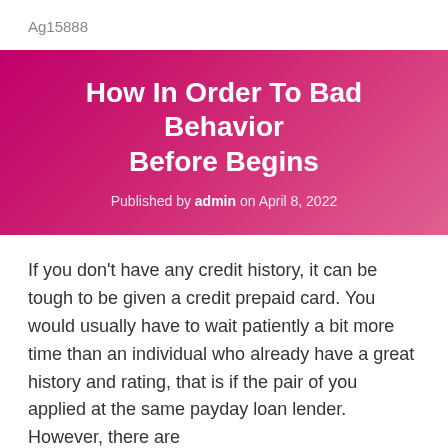Ag15888
How In Order To Bad Behavior Before Begins
Published by admin on April 8, 2022
If you don't have any credit history, it can be tough to be given a credit prepaid card. You would usually have to wait patiently a bit more time than an individual who already have a great history and rating, that is if the pair of you applied at the same payday loan lender. However, there are